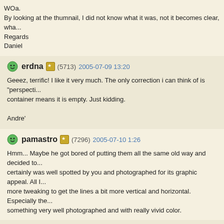WOa.
By looking at the thumnail, I did not know what it was, not it becomes clear, wha...
Regards
Daniel
erdna (5713) 2005-07-09 13:20
Geeez, terrific! I like it very much. The only correction i can think of is "perspecti... container means it is empty. Just kidding.
Andre'
pamastro (7296) 2005-07-10 1:26
Hmm... Maybe he got bored of putting them all the same old way and decided to... certainly was well spotted by you and photographed for its graphic appeal. All I... more tweaking to get the lines a bit more vertical and horizontal. Especially the... something very well photographed and with really vivid color.
Isabelle (9046) 2005-07-10 10:16
it took me half a second to realize they are containers, Curtis, even with your no... of the crane driver´s mistake :)) they´ll probably have problems to upload it in th... I am learning to admire frames of a single subject. It´s funny, really interesting...